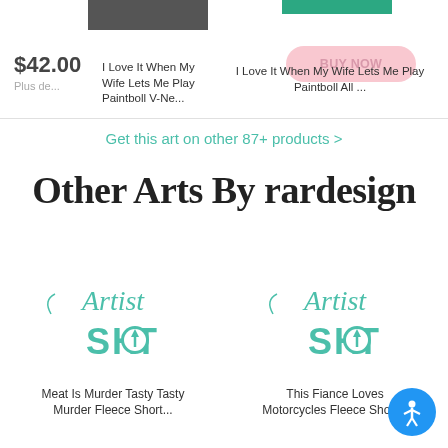[Figure (screenshot): Product listing top section showing two paintball t-shirt products. Left product shows $42.00 price and 'I Love It When My Wife Lets Me Play Paintball V-Ne...' title. Right product shows a teal button and pink 'BUY NOW' button with 'I Love It When My Wife Lets Me Play Paintball All ...' title.]
Get this art on other 87+ products >
Other Arts By rardesign
[Figure (logo): Artist Shot logo in teal/turquoise color on left product card]
[Figure (logo): Artist Shot logo in teal/turquoise color on right product card]
Meat Is Murder Tasty Tasty Murder Fleece Short...
This Fiance Loves Motorcycles Fleece Short...